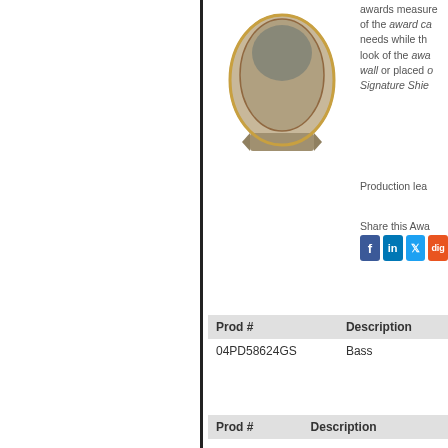[Figure (photo): Silver/gray resin bass fishing award trophy with oval shield shape and bass fish figure on top]
awards measure of the award ca needs while the look of the awar wall or placed a Signature Shie
Production lea
Share this Awa
| Prod # | Description |
| --- | --- |
| 04PD58624GS | Bass |
[Figure (photo): Black and gold shield-shaped resin plaque award with stars and ribbon banner at bottom]
Signature Seri
A blank canvas with these Sig oval awards ar gold versions a gold version is your award nee award can acco needs. This ite on a desk usin Resin Trophy A
Production lea
Share this Awa
| Prod # | Description |
| --- | --- |